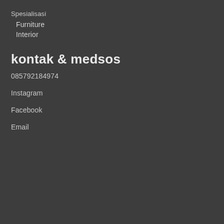Spesialisasi
Furniture
Interior
kontak & medsos
085792184974
Instagram
Facebook
Email